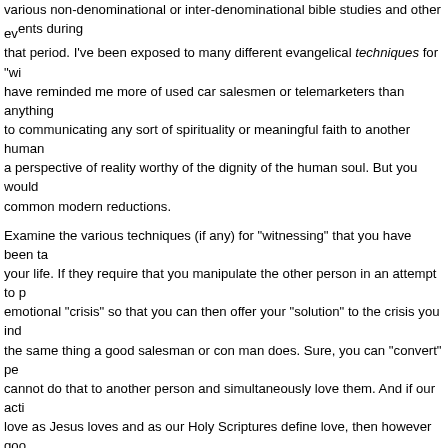various non-denominational or inter-denominational bible studies and other events during that period. I've been exposed to many different evangelical techniques for "witnessing" that have reminded me more of used car salesmen or telemarketers than anything conducive to communicating any sort of spirituality or meaningful faith to another human being or a perspective of reality worthy of the dignity of the human soul. But you would know these common modern reductions.
Examine the various techniques (if any) for "witnessing" that you have been taught in your life. If they require that you manipulate the other person in an attempt to produce an emotional "crisis" so that you can then offer your "solution" to the crisis you induced, that is the same thing a good salesman or con man does. Sure, you can "convert" people but you cannot do that to another person and simultaneously love them. And if our actions are not love as Jesus loves and as our Holy Scriptures define love, then however good our intentions might be, they are not Christian.
The ends do not justify the means. In fact, the means we used always produce the ends. The only way you can "convert" someone to a life of thanksgiving and communion is to live such a life yourself. You can only "convert" someone to love by loving them. I mention this a lot. The same thought processes that justify manipulating someone into a crisis for the greater good of "making" them a Christian flow along the same lines that have justified every "Christian" atrocity in history. It may look harmless, but it's not.